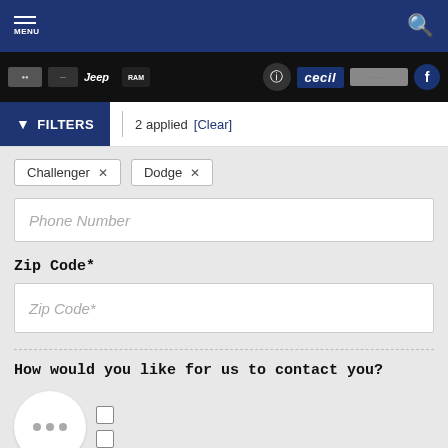MENU | [search icon]
[Figure (logo): Navigation bar with brand logos: Jeep, Ram, Customer First, Cecil, Facebook]
FILTERS | 2 applied [Clear]
Challenger × | Dodge ×
Phone Number
Zip Code*
Zip Code*
How would you like for us to contact you?
Email